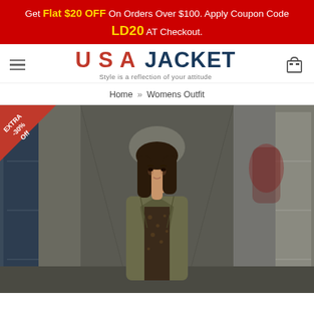Get Flat $20 OFF On Orders Over $100. Apply Coupon Code LD20 AT Checkout.
[Figure (logo): USA JACKET logo with American flag styling on USA text, tagline: Style is a reflection of your attitude]
Home » Womens Outfit
[Figure (photo): Woman wearing an olive/khaki military-style jacket over a leopard print dress, walking through a corridor of storage units. A red triangular badge in the top-left corner reads EXTRA -30% Off.]